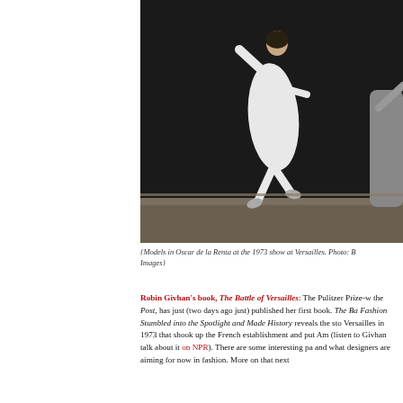[Figure (photo): Black and white photograph of models in Oscar de la Renta at the 1973 show at Versailles. A model in a flowing white outfit is captured mid-stride on a stage.]
{Models in Oscar de la Renta at the 1973 show at Versailles. Photo: [Images]}
Robin Givhan's book, The Battle of Versailles: The Pulitzer Prize-w... the Post, has just (two days ago just) published her first book. The Ba... Fashion Stumbled into the Spotlight and Made History reveals the sto... Versailles in 1973 that shook up the French establishment and put Am... (listen to Givhan talk about it on NPR). There are some interesting pa... and what designers are aiming for now in fashion. More on that next ...